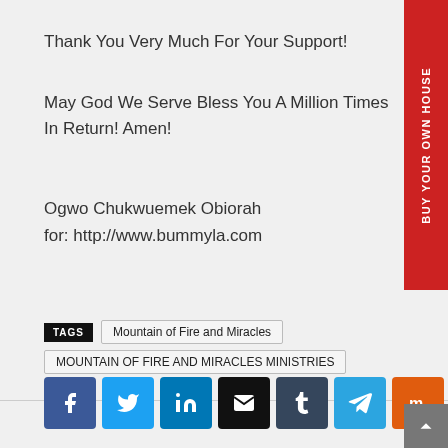Thank You Very Much For Your Support!
May God We Serve Bless You A Million Times In Return! Amen!
Ogwo Chukwuemek Obiorah
for: http://www.bummyla.com
TAGS  Mountain of Fire and Miracles  MOUNTAIN OF FIRE AND MIRACLES MINISTRIES
[Figure (infographic): Social sharing buttons: Facebook, Twitter, LinkedIn, Email, Tumblr, Telegram, Mix, More]